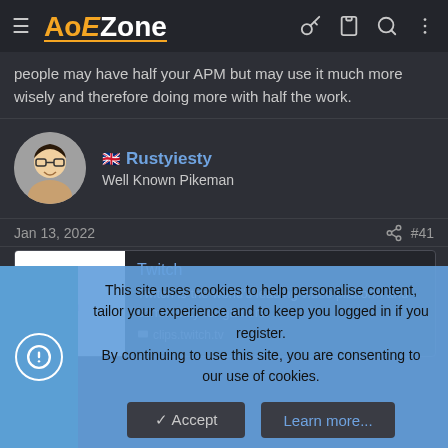AoEZone
people may have half your APM but may use it much more wisely and therefore doing more with half the work.
[Figure (photo): Avatar photo of user Rustyiesty, a person with glasses smiling]
🇬🇧 Rustyiesty
Well Known Pikeman
Jan 13, 2022  #41
[Figure (screenshot): Twitch embed card showing Twitch logo, title 'Twitch', description 'Twitch is the world's leading video platform and community for gamers.', and link clips.twitch.tv]
This site uses cookies to help personalise content, tailor your experience and to keep you logged in if you register. By continuing to use this site, you are consenting to our use of cookies.